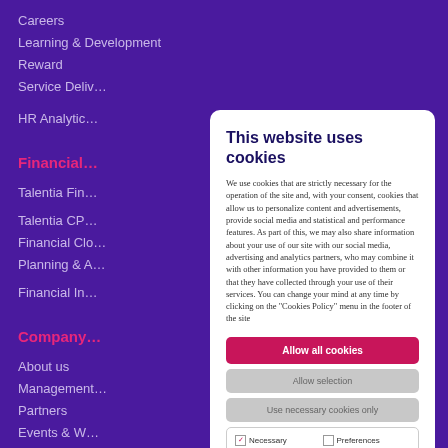Careers
Learning & Development
Reward
Service Deliv…
HR Analytic…
Financial…
Talentia Fin…
Talentia CP…
Financial Clo…
Planning & A…
Financial In…
Company…
About us
Management…
Partners
Events & W…
Press Relea…
This website uses cookies
We use cookies that are strictly necessary for the operation of the site and, with your consent, cookies that allow us to personalize content and advertisements, provide social media and statistical and performance features. As part of this, we may also share information about your use of our site with our social media, advertising and analytics partners, who may combine it with other information you have provided to them or that they have collected through your use of their services. You can change your mind at any time by clicking on the "Cookies Policy" menu in the footer of the site
Allow all cookies
Allow selection
Use necessary cookies only
Necessary  Preferences  Statistics  Marketing  Show details